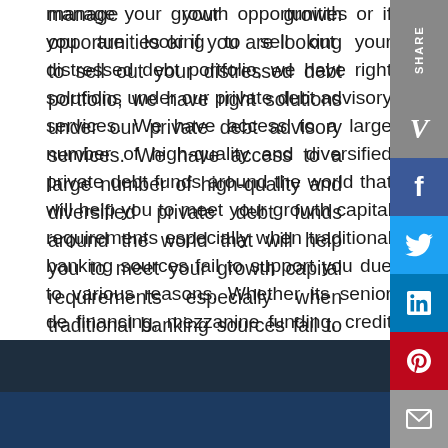manage your growth opportunities or if you are looking to sell out your distressed debt portfolio, we have right solutions under our private debt advisory services. We have access to a large number of high-quality and diversified private debt funds around the world that will help you to meet your growth capital requirements especially when traditional banking sources fail to support you due to various reasons. Whether its senior debt financing, mezzanine funding, credit opportunities, venture debt or distressed debt, we have the solutions which really suits with your capital requirements.
Contact us to know more.